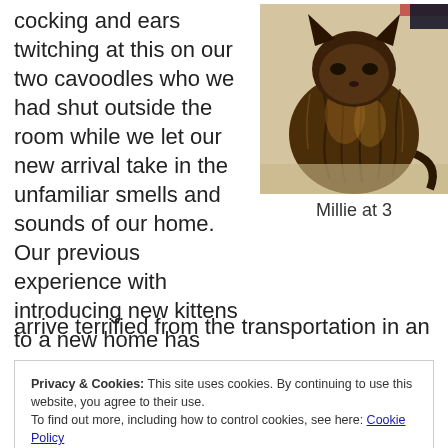cocking and ears twitching at this on our two cavoodles who we had shut outside the room while we let our new arrival take in the unfamiliar smells and sounds of our home. Our previous experience with introducing new kittens to a new home has taught us that they arrive terrified from the transportation in an
[Figure (photo): A fluffy dark tabby cat (Millie) photographed from above/behind, sitting on light-colored bedding, with brown and black fur.]
Millie at 3
Privacy & Cookies: This site uses cookies. By continuing to use this website, you agree to their use.
To find out more, including how to control cookies, see here: Cookie Policy
want the dog's instincts to chase adding to the